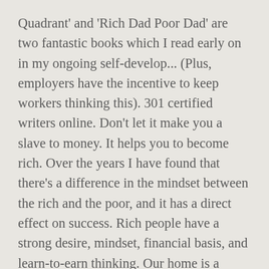Quadrant' and 'Rich Dad Poor Dad' are two fantastic books which I read early on in my ongoing self-develop... (Plus, employers have the incentive to keep workers thinking this). 301 certified writers online. Don't let it make you a slave to money. It helps you to become rich. Over the years I have found that there's a difference in the mindset between the rich and the poor, and it has a direct effect on success. Rich people have a strong desire, mindset, financial basis, and learn-to-earn thinking. Our home is a liability and shouldn't be our largest investment. Rich people get rid of taxes through financial knowledge. That is, he had two fathers. Focus on creating money first. It's time to...